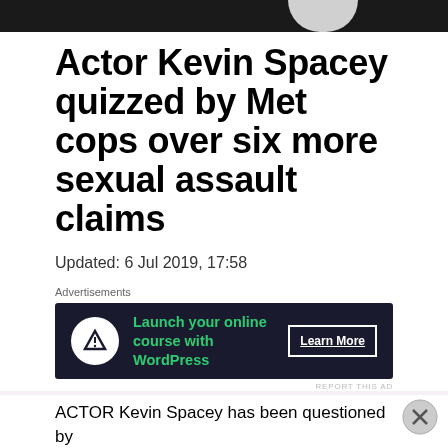[Figure (photo): Dark photograph showing partial figure, top portion of page]
Actor Kevin Spacey quizzed by Met cops over six more sexual assault claims
Updated: 6 Jul 2019, 17:58
Advertisements
[Figure (other): Advertisement banner: Launch your online course with WordPress - Learn More button]
REPORT THIS AD
ACTOR Kevin Spacey has been questioned by
Advertisements
REPORT THIS AD